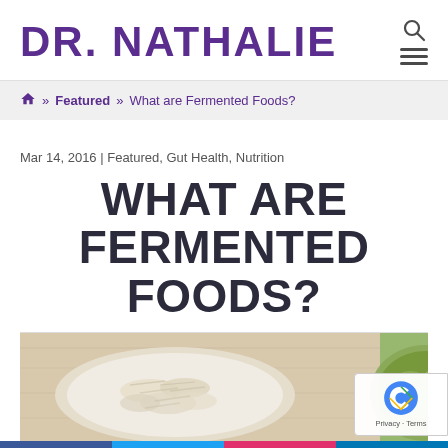DR. NATHALIE
⌂ » Featured » What are Fermented Foods?
Mar 14, 2016 | Featured, Gut Health, Nutrition
WHAT ARE FERMENTED FOODS?
[Figure (photo): Two bowls or spoons containing fermented foods — one with sauerkraut (white shredded cabbage) and one with pickles (green olives/gherkins), on a light blue wooden background.]